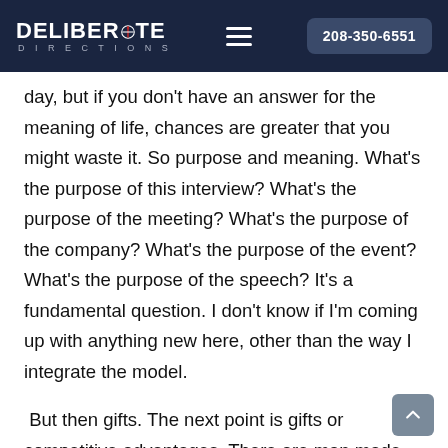DELIBERATE DIRECTIONS | 208-350-6551
day, but if you don't have an answer for the meaning of life, chances are greater that you might waste it. So purpose and meaning. What's the purpose of this interview? What's the purpose of the meeting? What's the purpose of the company? What's the purpose of the event? What's the purpose of the speech? It's a fundamental question. I don't know if I'm coming up with anything new here, other than the way I integrate the model.
But then gifts. The next point is gifts or competitive advantages. There are man made gifts, God given, manmade, self-generated. I think I was a gifted